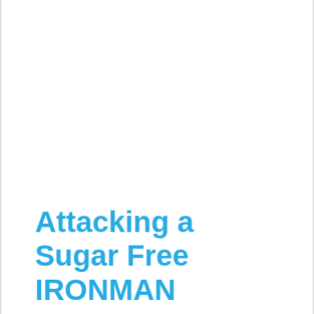Attacking a Sugar Free IRONMAN